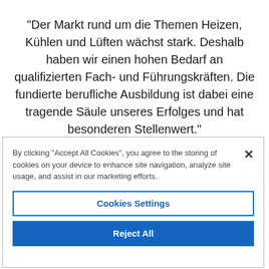"Der Markt rund um die Themen Heizen, Kühlen und Lüften wächst stark. Deshalb haben wir einen hohen Bedarf an qualifizierten Fach- und Führungskräften. Die fundierte berufliche Ausbildung ist dabei eine tragende Säule unseres Erfolges und hat besonderen Stellenwert."
By clicking "Accept All Cookies", you agree to the storing of cookies on your device to enhance site navigation, analyze site usage, and assist in our marketing efforts.
Cookies Settings
Reject All